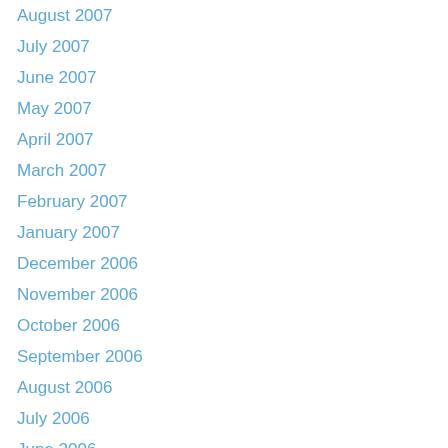August 2007
July 2007
June 2007
May 2007
April 2007
March 2007
February 2007
January 2007
December 2006
November 2006
October 2006
September 2006
August 2006
July 2006
June 2006
May 2006
April 2006
March 2006
February 2006
January 2006